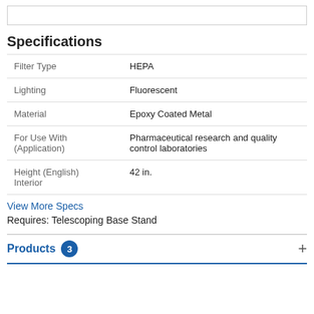[Figure (other): Empty box at top of page]
Specifications
| Filter Type | HEPA |
| Lighting | Fluorescent |
| Material | Epoxy Coated Metal |
| For Use With (Application) | Pharmaceutical research and quality control laboratories |
| Height (English) Interior | 42 in. |
View More Specs
Requires: Telescoping Base Stand
Products 3